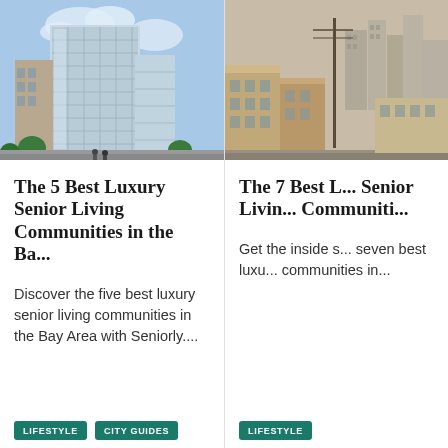[Figure (photo): Modern high-rise glass office/residential building in an urban setting with trees and pedestrians at street level, blue sky background]
The 5 Best Luxury Senior Living Communities in the Ba...
Discover the five best luxury senior living communities in the Bay Area with Seniorly....
LIFESTYLE
CITY GUIDES
[Figure (photo): Urban cityscape with modern skyscrapers in the background and older low-rise buildings in the foreground, utility poles visible]
The 7 Best L... Senior Livin... Communiti...
Get the inside s... seven best luxu... communities in...
LIFESTYLE